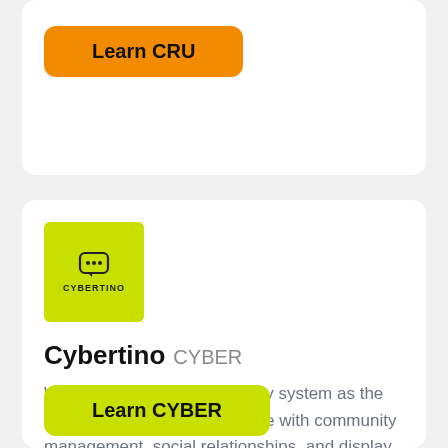[Figure (other): Orange 'Learn CRU' button on a white card]
[Figure (logo): Cybertino logo — yellow-green square with chat bubble icon and CYBERTINO text]
Cybertino CYBER
We're building a virtual identity system as the infrastructure of the metaverse with community management, social relationships, and display of virtual assets.
[Figure (other): Yellow-green 'Learn CYBER' button]